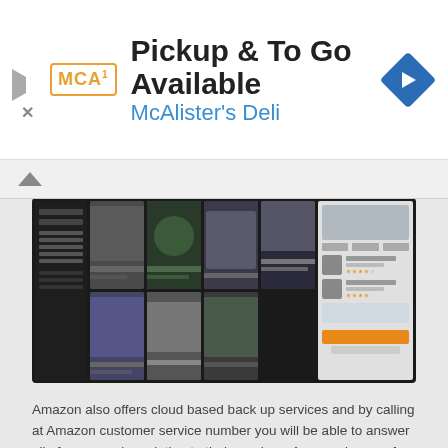[Figure (screenshot): Advertisement banner for McAlister's Deli: logo on left, title 'Pickup & To Go Available', subtitle 'McAlister's Deli', blue diamond navigation icon on right]
[Figure (screenshot): Screenshot of Amazon website showing product grid with clothing/furniture items, a dark laptop-style frame, with product detail panel on right]
Amazon also offers cloud based back up services and by calling at Amazon customer service number you will be able to answer all of your queries relating to their services. Amazon is one of the fastest growing companies in the world. They have depth of their stock holdings which are distributed in large warehouses located across the globe.
Amazon stocks almost everything including movies, home items, electronic items and many